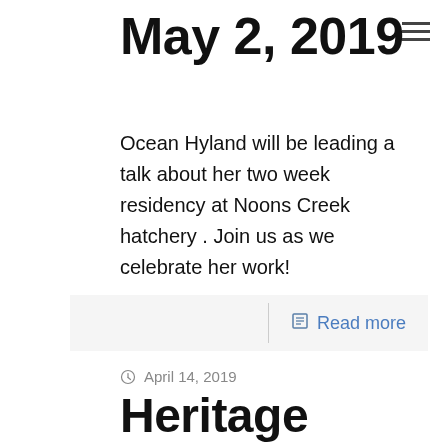May 2, 2019
Ocean Hyland will be leading a talk about her two week residency at Noons Creek hatchery . Join us as we celebrate her work!
Read more
April 14, 2019
Heritage Paddle with Takaya Tours, May 10, 2019